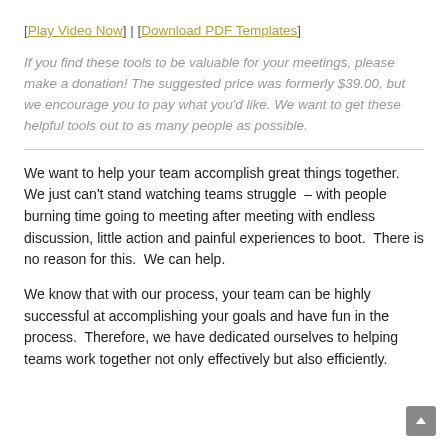[Play Video Now] | [Download PDF Templates]
If you find these tools to be valuable for your meetings, please make a donation! The suggested price was formerly $39.00, but we encourage you to pay what you'd like. We want to get these helpful tools out to as many people as possible.
We want to help your team accomplish great things together. We just can't stand watching teams struggle – with people burning time going to meeting after meeting with endless discussion, little action and painful experiences to boot. There is no reason for this. We can help.
We know that with our process, your team can be highly successful at accomplishing your goals and have fun in the process. Therefore, we have dedicated ourselves to helping teams work together not only effectively but also efficiently.